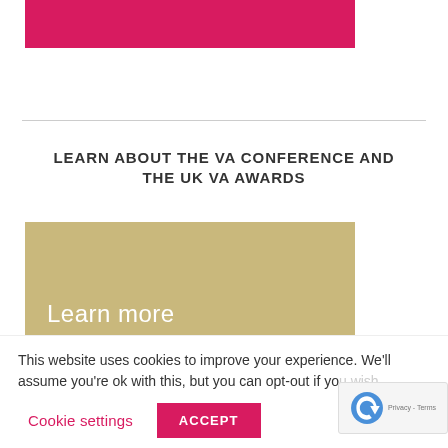[Figure (other): Pink/magenta colored banner rectangle at top of page]
LEARN ABOUT THE VA CONFERENCE AND THE UK VA AWARDS
[Figure (other): Gold/tan colored banner with 'Learn more' text in white at the bottom]
This website uses cookies to improve your experience. We'll assume you're ok with this, but you can opt-out if you
Cookie settings   ACCEPT